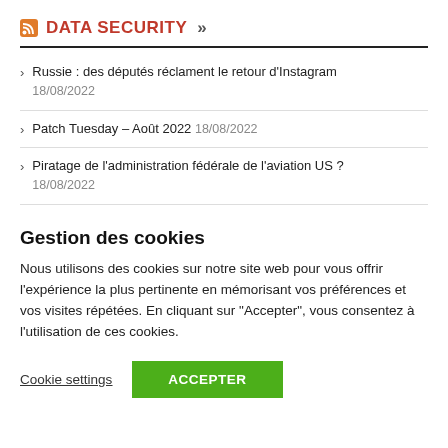DATA SECURITY »
Russie : des députés réclament le retour d'Instagram 18/08/2022
Patch Tuesday – Août 2022 18/08/2022
Piratage de l'administration fédérale de l'aviation US ? 18/08/2022
Gestion des cookies
Nous utilisons des cookies sur notre site web pour vous offrir l'expérience la plus pertinente en mémorisant vos préférences et vos visites répétées. En cliquant sur "Accepter", vous consentez à l'utilisation de ces cookies.
Cookie settings  ACCEPTER